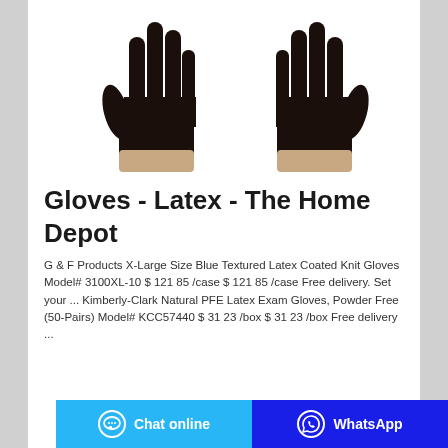[Figure (photo): Two black latex/nitrile examination gloves side by side on white background]
Gloves - Latex - The Home Depot
G & F Products X-Large Size Blue Textured Latex Coated Knit Gloves Model# 3100XL-10 $ 121 85 /case $ 121 85 /case Free delivery. Set your ... Kimberly-Clark Natural PFE Latex Exam Gloves, Powder Free (50-Pairs) Model# KCC57440 $ 31 23 /box $ 31 23 /box Free delivery ...
Chat online | WhatsApp